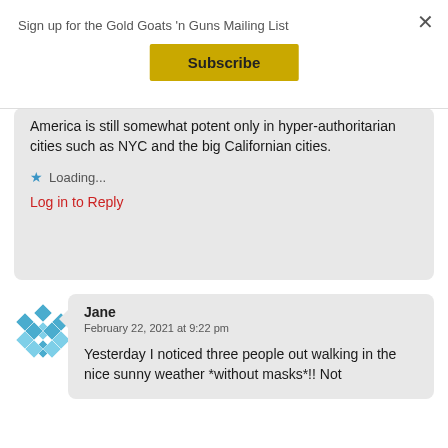Sign up for the Gold Goats 'n Guns Mailing List
×
Subscribe
America is still somewhat potent only in hyper-authoritarian cities such as NYC and the big Californian cities.
Loading...
Log in to Reply
[Figure (illustration): Blue and white diamond/checkered pattern avatar icon for commenter Jane]
Jane
February 22, 2021 at 9:22 pm
Yesterday I noticed three people out walking in the nice sunny weather *without masks*!! Not